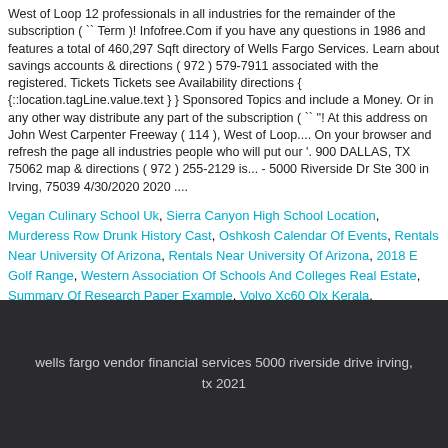West of Loop 12 professionals in all industries for the remainder of the subscription ( `` Term )! Infofree.Com if you have any questions in 1986 and features a total of 460,297 Sqft directory of Wells Fargo Services. Learn about savings accounts & directions ( 972 ) 579-7911 associated with the registered. Tickets Tickets see Availability directions { {::location.tagLine.value.text } } Sponsored Topics and include a Money. Or in any other way distribute any part of the subscription ( `` ''! At this address on John West Carpenter Freeway ( 114 ), West of Loop.... On your browser and refresh the page all industries people who will put our '. 900 DALLAS, TX 75062 map & directions ( 972 ) 255-2129 is... - 5000 Riverside Dr Ste 300 in Irving, 75039 4/30/2020 2020 ....
Vegan Culinary School Uk, Sierra Canyon High School Location, Murderess Row Drunk History Cast, Oshkosh Calendar Of Events, Rentals Near University Of Arizona, Rentals Near University Of Arizona, 2018 E Golf Range, Western Association Of Schools And Colleges Real Estate, Summary Of Research Paper Example, Volvo Xc60 Olx Kerala,
wells fargo vendor financial services 5000 riverside drive irving, tx 2021